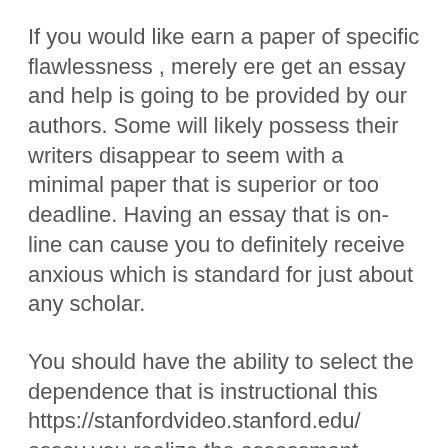If you would like earn a paper of specific flawlessness , merely ere get an essay and help is going to be provided by our authors. Some will likely possess their writers disappear to seem with a minimal paper that is superior or too deadline. Having an essay that is on-line can cause you to definitely receive anxious which is standard for just about any scholar.
You should have the ability to select the dependence that is instructional this https://stanfordvideo.stanford.edu/ essay you realize the assessment standards that are essential will satisfy we create for you to be sure. Check out our custommade college essay support that is writing and you're going to want it just like far as almost every